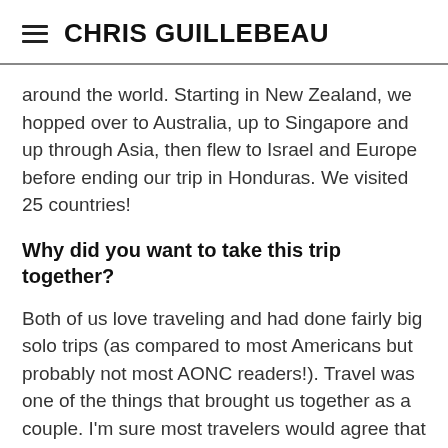CHRIS GUILLEBEAU
around the world. Starting in New Zealand, we hopped over to Australia, up to Singapore and up through Asia, then flew to Israel and Europe before ending our trip in Honduras. We visited 25 countries!
Why did you want to take this trip together?
Both of us love traveling and had done fairly big solo trips (as compared to most Americans but probably not most AONC readers!). Travel was one of the things that brought us together as a couple. I'm sure most travelers would agree that it is an addiction: once you start you just want to go to more and more places.